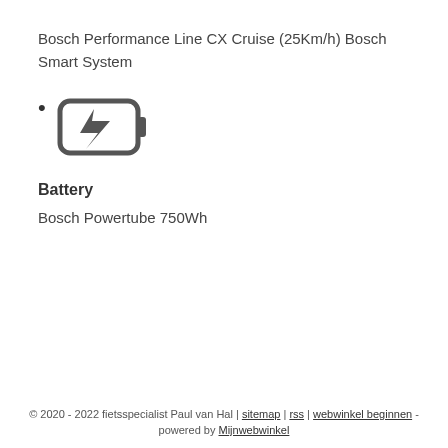Bosch Performance Line CX Cruise (25Km/h) Bosch Smart System
[Figure (illustration): Battery/charging icon — a rectangular battery outline with a lightning bolt inside, indicating charging status.]
Battery
Bosch Powertube 750Wh
© 2020 - 2022 fietsspecialist Paul van Hal | sitemap | rss | webwinkel beginnen - powered by Mijnwebwinkel